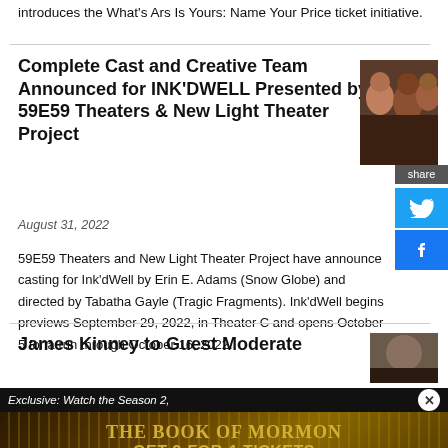introduces the What's Ars Is Yours: Name Your Price ticket initiative.
Complete Cast and Creative Team Announced for INK'DWELL Presented by 59E59 Theaters & New Light Theater Project
[Figure (photo): Photo of three women, faces close-up]
August 31, 2022
59E59 Theaters and New Light Theater Project have announce casting for Ink'dWell by Erin E. Adams (Snow Globe) and directed by Tabatha Gayle (Tragic Fragments). Ink'dWell begins previews September 29, 2022, in Theater C and opens October 5 for a run through October 16, 2022.
James Kinney to Guest Moderate
[Figure (photo): Partially visible photo, cropped]
Exclusive: Watch the Season 2,
[Figure (infographic): Advertisement for The Book of Mormon: GET 2-FOR-1 TICKETS DURING NYC BROADWAY WEEK · SEPTEMBER 6-25. USE CODE BWAYWK. GET TICKETS.]